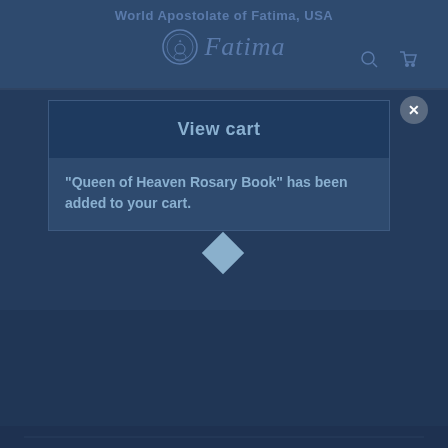World Apostolate of Fatima, USA
[Figure (logo): Fatima logo with circular emblem and italic script text 'Fatima']
View cart
"Queen of Heaven Rosary Book" has been added to your cart.
[Figure (illustration): Book thumbnail showing Queen of Heaven Rosary Book cover in dark blue tones]